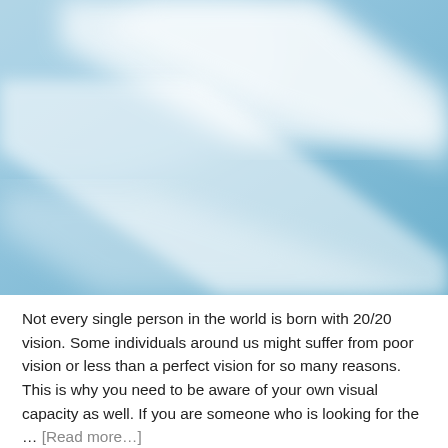[Figure (photo): Abstract close-up photo of soft blue and white curves, resembling fabric, sky, or smooth surfaces with gentle diagonal white streaks on a light blue background.]
Not every single person in the world is born with 20/20 vision. Some individuals around us might suffer from poor vision or less than a perfect vision for so many reasons. This is why you need to be aware of your own visual capacity as well. If you are someone who is looking for the … [Read more…]